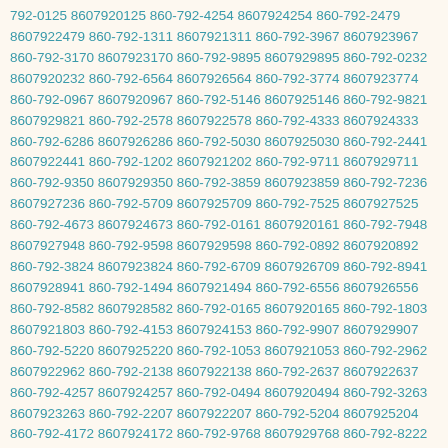792-0125 8607920125 860-792-4254 8607924254 860-792-2479 8607922479 860-792-1311 8607921311 860-792-3967 8607923967 860-792-3170 8607923170 860-792-9895 8607929895 860-792-0232 8607920232 860-792-6564 8607926564 860-792-3774 8607923774 860-792-0967 8607920967 860-792-5146 8607925146 860-792-9821 8607929821 860-792-2578 8607922578 860-792-4333 8607924333 860-792-6286 8607926286 860-792-5030 8607925030 860-792-2441 8607922441 860-792-1202 8607921202 860-792-9711 8607929711 860-792-9350 8607929350 860-792-3859 8607923859 860-792-7236 8607927236 860-792-5709 8607925709 860-792-7525 8607927525 860-792-4673 8607924673 860-792-0161 8607920161 860-792-7948 8607927948 860-792-9598 8607929598 860-792-0892 8607920892 860-792-3824 8607923824 860-792-6709 8607926709 860-792-8941 8607928941 860-792-1494 8607921494 860-792-6556 8607926556 860-792-8582 8607928582 860-792-0165 8607920165 860-792-1803 8607921803 860-792-4153 8607924153 860-792-9907 8607929907 860-792-5220 8607925220 860-792-1053 8607921053 860-792-2962 8607922962 860-792-2138 8607922138 860-792-2637 8607922637 860-792-4257 8607924257 860-792-0494 8607920494 860-792-3263 8607923263 860-792-2207 8607922207 860-792-5204 8607925204 860-792-4172 8607924172 860-792-9768 8607929768 860-792-8222 8607928222 860-792-0465 8607920465 860-792-0306 8607920306 860-792-8454 8607928454 860-792-5553 8607925553 860-792-2655 8607922655 860-792-3610 8607923610 860-792-9876 8607929876 860-792-6784 8607926784 860-792-6364 8607926364 860-792-1255 8607921255 860-792-6742 8607926742 860-792-5060 8607925060 860-792-1999 8607921999 860-792-9708 8607929708 860-792-6705